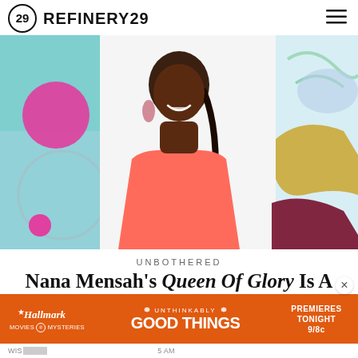REFINERY29
[Figure (photo): A smiling Black woman with a braided ponytail wearing a coral/salmon sleeveless top, posed in front of a colorful abstract background with pink, teal, dark red, and gold shapes.]
UNBOTHERED
Nana Mensah's Queen Of Glory Is A Love Letter To Ghana & NYC
[Figure (other): Hallmark Movies & Mysteries advertisement banner in orange reading: UNTHINKABLY GOOD THINGS - PREMIERES TONIGHT 9/8c]
WIS[dom]  5 AM